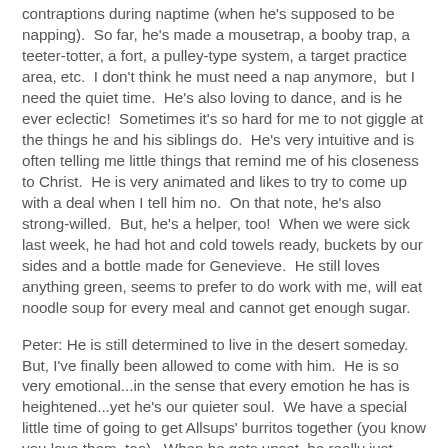contraptions during naptime (when he's supposed to be napping).  So far, he's made a mousetrap, a booby trap, a teeter-totter, a fort, a pulley-type system, a target practice area, etc.  I don't think he must need a nap anymore,  but I need the quiet time.  He's also loving to dance, and is he ever eclectic!  Sometimes it's so hard for me to not giggle at the things he and his siblings do.  He's very intuitive and is often telling me little things that remind me of his closeness to Christ.  He is very animated and likes to try to come up with a deal when I tell him no.  On that note, he's also strong-willed.  But, he's a helper, too!  When we were sick last week, he had hot and cold towels ready, buckets by our sides and a bottle made for Genevieve.  He still loves anything green, seems to prefer to do work with me, will eat noodle soup for every meal and cannot get enough sugar.
Peter: He is still determined to live in the desert someday.  But, I've finally been allowed to come with him.  He is so very emotional...in the sense that every emotion he has is heightened...yet he's our quieter soul.  We have a special little time of going to get Allsups' burritos together (you know you love them, too).  When he gets upset, he really just